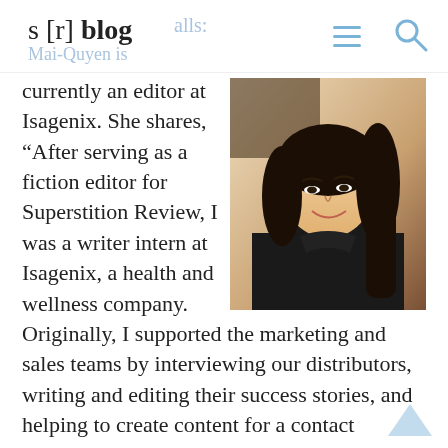s [r] blog  Mai-Quyen is
[Figure (photo): Young woman with long dark hair, smiling, wearing a black top, seated indoors]
currently an editor at Isagenix. She shares, “After serving as a fiction editor for Superstition Review, I was a writer intern at Isagenix, a health and wellness company. Originally, I supported the marketing and sales teams by interviewing our distributors, writing and editing their success stories, and helping to create content for a contact management system. From interning through the summer